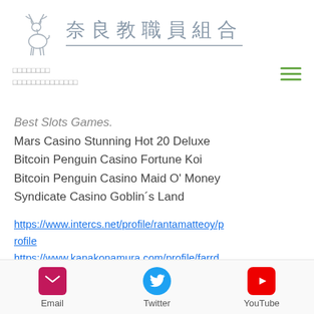[Figure (logo): Deer/stag logo with Japanese text '奈良教職員組合' (Nara Teachers Union) in grey with decorative underline border]
□□□□□□□□
□□□□□□□□□□□□□□
Best Slots Games:
Mars Casino Stunning Hot 20 Deluxe
Bitcoin Penguin Casino Fortune Koi
Bitcoin Penguin Casino Maid O' Money
Syndicate Casino Goblin´s Land
https://www.intercs.net/profile/rantamatteoy/profile
https://www.kanakonamura.com/profile/farrd
Email  Twitter  YouTube